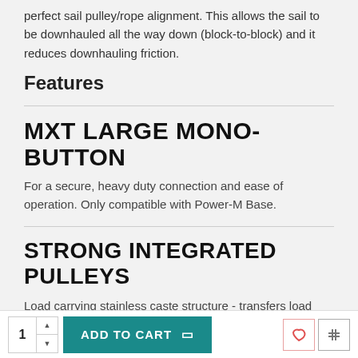perfect sail pulley/rope alignment. This allows the sail to be downhauled all the way down (block-to-block) and it reduces downhauling friction.
Features
MXT LARGE MONO-BUTTON
For a secure, heavy duty connection and ease of operation. Only compatible with Power-M Base.
STRONG INTEGRATED PULLEYS
Load carrying stainless caste structure - transfers load directly from the pulleys onto the extension tube